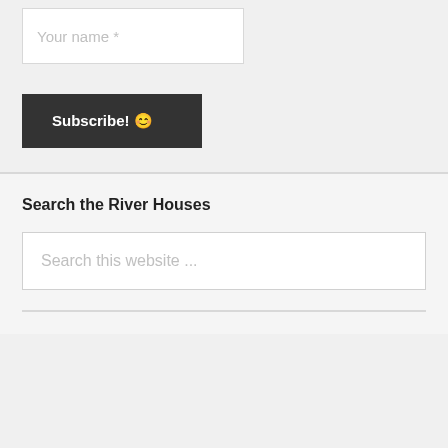Your name *
Subscribe! 😊
Search the River Houses
Search this website ...